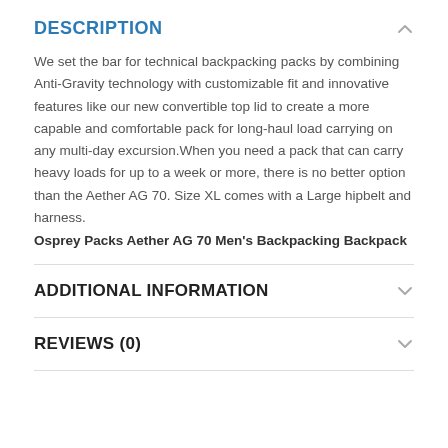DESCRIPTION
We set the bar for technical backpacking packs by combining Anti-Gravity technology with customizable fit and innovative features like our new convertible top lid to create a more capable and comfortable pack for long-haul load carrying on any multi-day excursion.When you need a pack that can carry heavy loads for up to a week or more, there is no better option than the Aether AG 70. Size XL comes with a Large hipbelt and harness.
Osprey Packs Aether AG 70 Men's Backpacking Backpack
ADDITIONAL INFORMATION
REVIEWS (0)